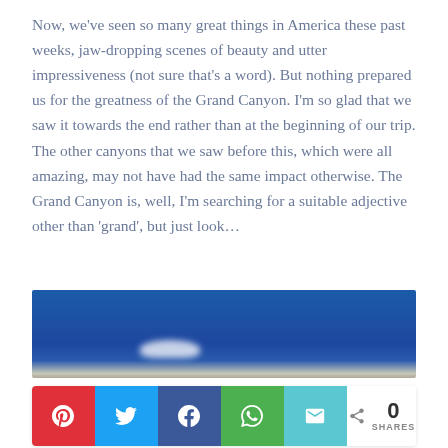Now, we've seen so many great things in America these past weeks, jaw-dropping scenes of beauty and utter impressiveness (not sure that's a word). But nothing prepared us for the greatness of the Grand Canyon. I'm so glad that we saw it towards the end rather than at the beginning of our trip. The other canyons that we saw before this, which were all amazing, may not have had the same impact otherwise. The Grand Canyon is, well, I'm searching for a suitable adjective other than 'grand', but just look…
[Figure (photo): Partial view of the Grand Canyon showing blue sky with a cloud, cut off at the bottom of the image]
[Figure (infographic): Social sharing bar with Pinterest (red), Twitter (blue), Facebook (dark blue), WhatsApp (green), Email (teal) buttons and a share count showing 0 SHARES]